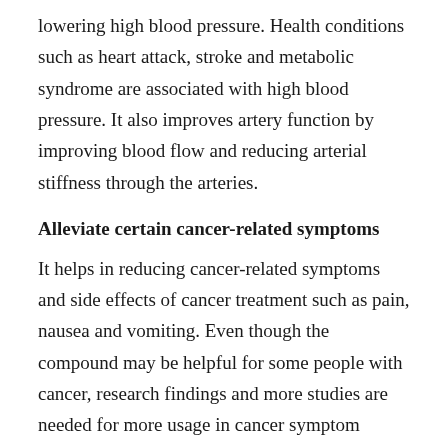lowering high blood pressure. Health conditions such as heart attack, stroke and metabolic syndrome are associated with high blood pressure. It also improves artery function by improving blood flow and reducing arterial stiffness through the arteries.
Alleviate certain cancer-related symptoms
It helps in reducing cancer-related symptoms and side effects of cancer treatment such as pain, nausea and vomiting. Even though the compound may be helpful for some people with cancer, research findings and more studies are needed for more usage in cancer symptom management.
Inhibit arthritis symptoms